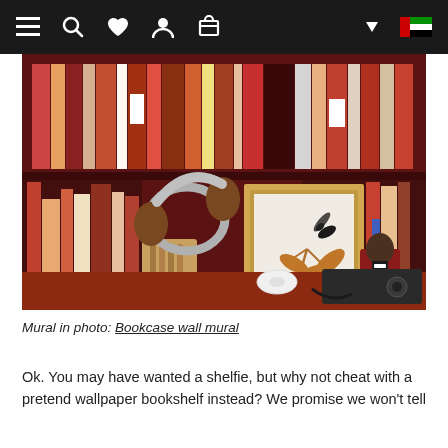Navigation bar with menu, search, wishlist, account, cart icons and UAE flag
[Figure (photo): Photo of a desk shelf with a bookcase wall mural in background. Items on shelf include over-ear headphones on a wooden stand, a framed hummingbird art print, books, a small figurine, and audio recording equipment. The bookcase mural shows red shelving filled with books.]
Mural in photo: Bookcase wall mural
Ok. You may have wanted a shelfie, but why not cheat with a pretend wallpaper bookshelf instead? We promise we won't tell